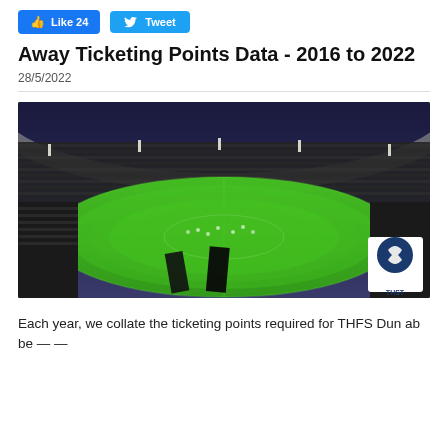Like 24  Tweet
Away Ticketing Points Data - 2016 to 2022
28/5/2022
[Figure (photo): Aerial view of a packed football stadium at night with bright green pitch, fans in stands, and THST logo watermark in the bottom right corner]
Each year, we collate the ticketing points required for THES Dun ab be — —